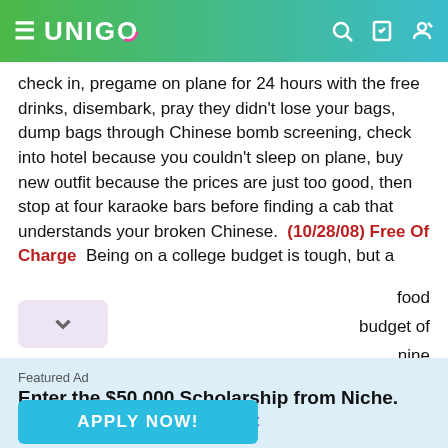UNIGO
check in, pregame on plane for 24 hours with the free drinks, disembark, pray they didn't lose your bags, dump bags through Chinese bomb screening, check into hotel because you couldn't sleep on plane, buy new outfit because the prices are just too good, then stop at four karaoke bars before finding a cab that understands your broken Chinese. (10/28/08) Free Of Charge Being on a college budget is tough, but a food budget of nine
Featured Ad
Enter the $50,000 Scholarship from Niche.
Last day to enter is August 31st
APPLY NOW!